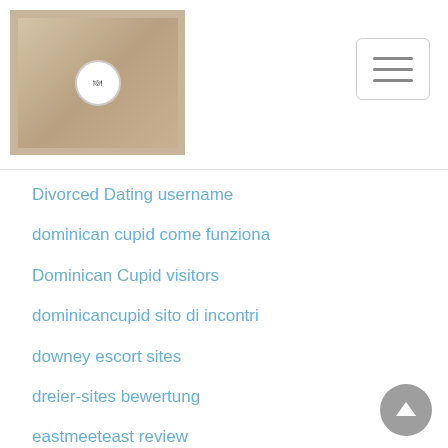[Figure (screenshot): Website header with logo image (food/cookbook themed) on left and hamburger menu button on right]
Divorced Dating username
dominican cupid come funziona
Dominican Cupid visitors
dominicancupid sito di incontri
downey escort sites
dreier-sites bewertung
eastmeeteast review
Eastmeeteast spotkania
easy installment loans
easy installment loans online
easy money payday loans